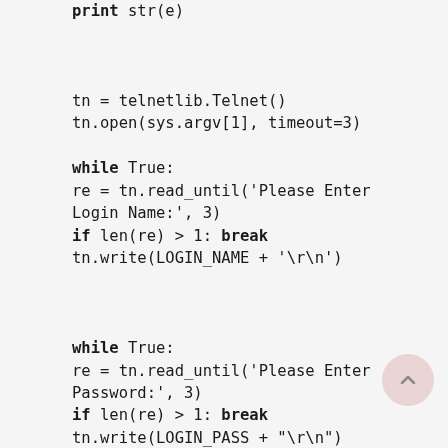print str(e)


tn = telnetlib.Telnet()
tn.open(sys.argv[1], timeout=3)

while True:
    re = tn.read_until('Please Enter Login Name:', 3)
    if len(re) > 1: break
tn.write(LOGIN_NAME + '\r\n')


while True:
    re = tn.read_until('Please Enter Password:', 3)
    if len(re) > 1: break
tn.write(LOGIN_PASS + "\r\n")